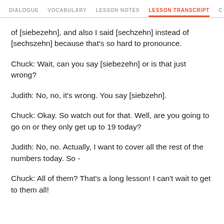DIALOGUE | VOCABULARY | LESSON NOTES | LESSON TRANSCRIPT | C
of [siebezehn], and also I said [sechzehn] instead of [sechszehn] because that's so hard to pronounce.
Chuck: Wait, can you say [siebezehn] or is that just wrong?
Judith: No, no, it's wrong. You say [siebzehn].
Chuck: Okay. So watch out for that. Well, are you going to go on or they only get up to 19 today?
Judith: No, no. Actually, I want to cover all the rest of the numbers today. So -
Chuck: All of them? That's a long lesson! I can't wait to get to them all!